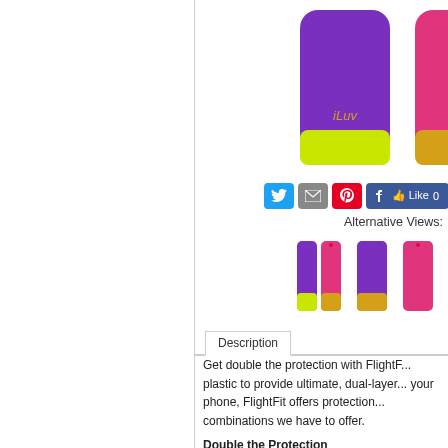[Figure (photo): iLuv FlightFit phone cases in purple with yellow-green accent and pink with gold accent, showing two cases side by side]
[Figure (screenshot): Social sharing buttons: Twitter, Email, Pinterest (blue, grey, red icon buttons) and Facebook Like button showing 0 likes]
Alternative Views:
[Figure (photo): Three thumbnail alternative view images of iLuv FlightFit phone cases]
Description
Get double the protection with FlightF... plastic to provide ultimate, dual-layer... your phone, FlightFit offers protection... combinations we have to offer.
Double the Protection
Made from a fused two-layer constr...